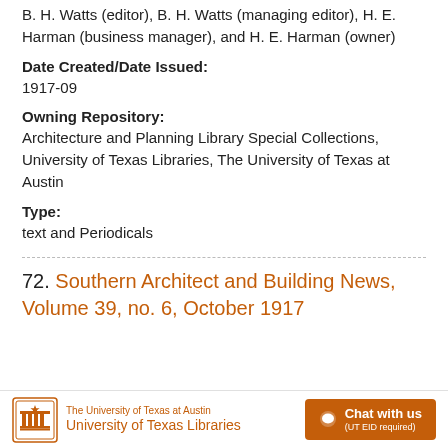B. H. Watts (editor), B. H. Watts (managing editor), H. E. Harman (business manager), and H. E. Harman (owner)
Date Created/Date Issued:
1917-09
Owning Repository:
Architecture and Planning Library Special Collections, University of Texas Libraries, The University of Texas at Austin
Type:
text and Periodicals
72. Southern Architect and Building News, Volume 39, no. 6, October 1917
The University of Texas at Austin University of Texas Libraries | Chat with us (UT EID required)